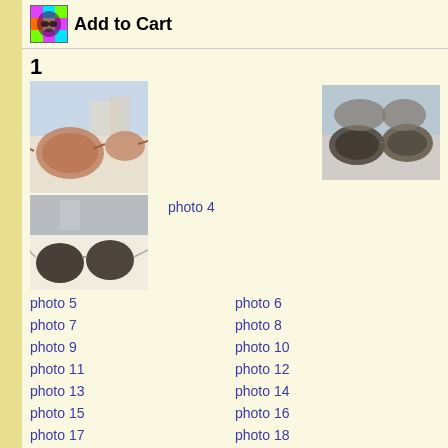Add to Cart
1
[Figure (photo): Photo 1: Sunglasses with brown tinted aviator lenses on white surface outdoors]
[Figure (photo): Photo 2: Two pairs of sunglasses with dark lenses side by side]
[Figure (photo): Photo 3: Sunglasses with rimless round lenses on white surface]
photo 4
photo 5
photo 6
photo 7
photo 8
photo 9
photo 10
photo 11
photo 12
photo 13
photo 14
photo 15
photo 16
photo 17
photo 18
2
[Figure (photo): Photo: Blue tinted sunglasses on blue background]
[Figure (photo): Photo: Blue tinted round sunglasses on blue background]